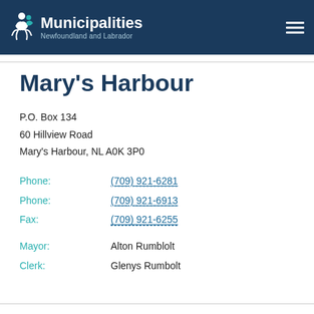Municipalities Newfoundland and Labrador
Mary's Harbour
P.O. Box 134
60 Hillview Road
Mary's Harbour, NL A0K 3P0
Phone: (709) 921-6281
Phone: (709) 921-6913
Fax: (709) 921-6255
Mayor: Alton Rumblolt
Clerk: Glenys Rumbolt